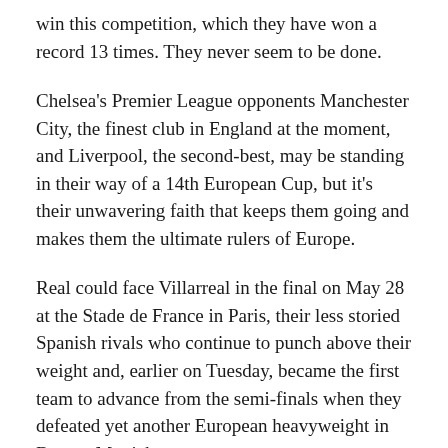win this competition, which they have won a record 13 times. They never seem to be done.
Chelsea's Premier League opponents Manchester City, the finest club in England at the moment, and Liverpool, the second-best, may be standing in their way of a 14th European Cup, but it's their unwavering faith that keeps them going and makes them the ultimate rulers of Europe.
Real could face Villarreal in the final on May 28 at the Stade de France in Paris, their less storied Spanish rivals who continue to punch above their weight and, earlier on Tuesday, became the first team to advance from the semi-finals when they defeated yet another European heavyweight in Bayern Munich.